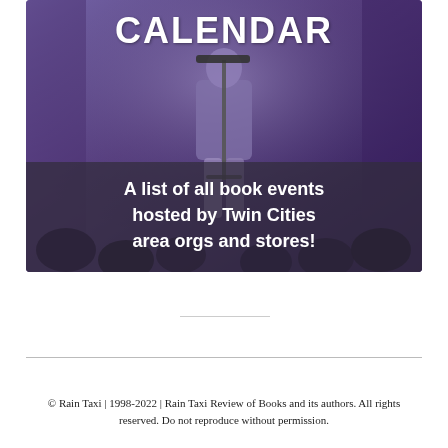[Figure (photo): A photograph of a person standing at a microphone/music stand on a stage with purple lighting, overlaid with the text 'Calendar' at the top and a dark semi-transparent box at the bottom reading 'A list of all book events hosted by Twin Cities area orgs and stores!']
© Rain Taxi | 1998-2022 | Rain Taxi Review of Books and its authors. All rights reserved. Do not reproduce without permission.